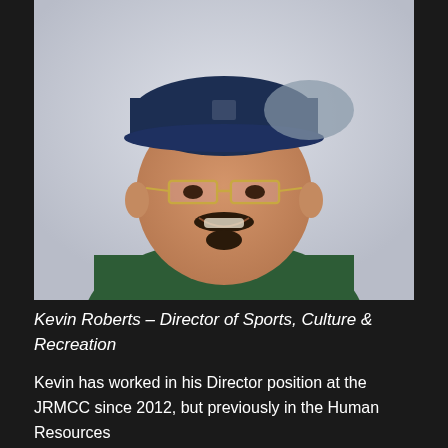[Figure (photo): Headshot of Kevin Roberts, a middle-aged man wearing gold-rimmed glasses, a dark navy baseball cap, and a dark green t-shirt, smiling, against a light grey-white background.]
Kevin Roberts – Director of Sports, Culture & Recreation
Kevin has worked in his Director position at the JRMCC since 2012, but previously in the Human Resources